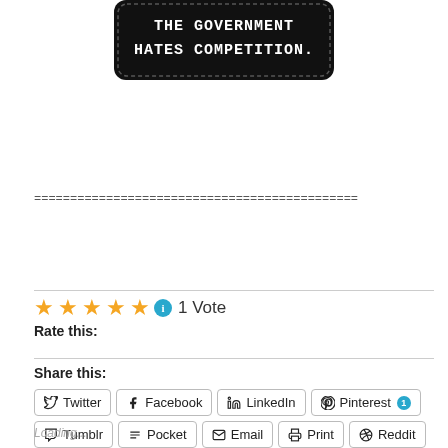[Figure (photo): A black rectangular embroidered patch with white text reading 'THE GOVERNMENT HATES COMPETITION.']
=============================================
Rate this: ★★★★★ ℹ 1 Vote
Share this:
Twitter | Facebook | LinkedIn | Pinterest 1 | Tumblr | Pocket | Email | Print | Reddit
Loading...